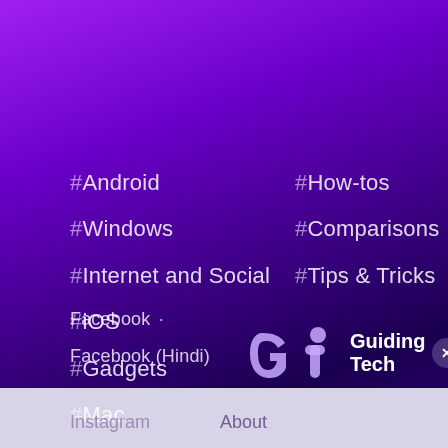#Android
#Windows
#Internet and Social
#iOS
#Gadgets
#Mac
#Buying Guides
#How-tos
#Comparisons
#Tips & Tricks
Facebook
Facebook (Hindi)
Instagram
About
[Figure (logo): Guiding Tech logo — stylized 'GT' letters in purple/lavender with text 'Guiding Tech' and a close button]